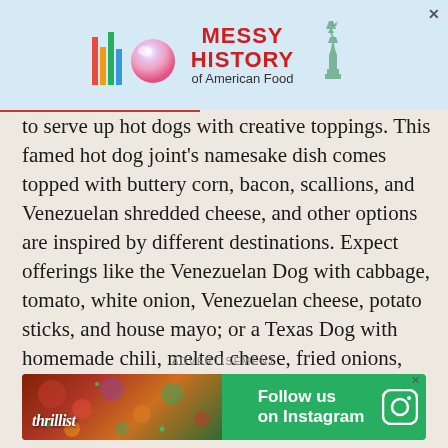[Figure (screenshot): Top advertisement banner with colorful bar logo, circular gradient orb, 'MESSY HISTORY of American Food' text in red, and Statue of Liberty silhouette on light blue background]
to serve up hot dogs with creative toppings. This famed hot dog joint's namesake dish comes topped with buttery corn, bacon, scallions, and Venezuelan shredded cheese, and other options are inspired by different destinations. Expect offerings like the Venezuelan Dog with cabbage, tomato, white onion, Venezuelan cheese, potato sticks, and house mayo; or a Texas Dog with homemade chili, melted cheese, fried onions, and scallions.
ADVERTISEMENT
[Figure (screenshot): Thrillist advertisement banner with food photo on left and green 'Follow us on Instagram' call-to-action on right with Instagram icon]